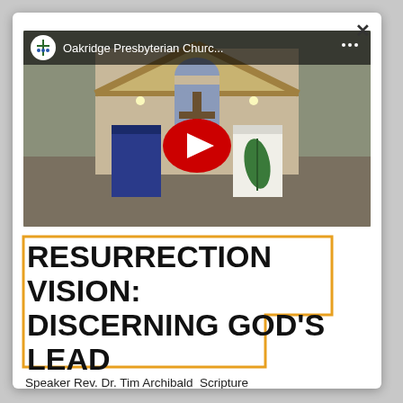[Figure (screenshot): YouTube video thumbnail showing interior of Oakridge Presbyterian Church with a cross, banners, and peaked wooden roof. Title bar reads 'Oakridge Presbyterian Churc...']
RESURRECTION VISION: DISCERNING GOD'S LEAD
Speaker Rev. Dr. Tim Archibald  Scripture Acts 16:9-15 / John 14:26-27